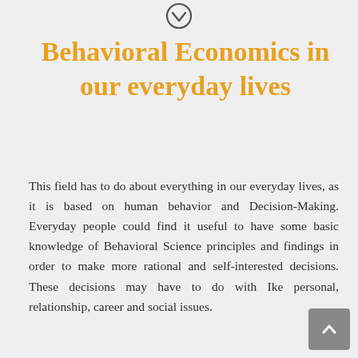[Figure (logo): Circular icon with a downward-pointing checkmark/chevron symbol]
Behavioral Economics in our everyday lives
This field has to do about everything in our everyday lives, as it is based on human behavior and Decision-Making. Everyday people could find it useful to have some basic knowledge of Behavioral Science principles and findings in order to make more rational and self-interested decisions. These decisions may have to do with Ike personal, relationship, career and social issues.